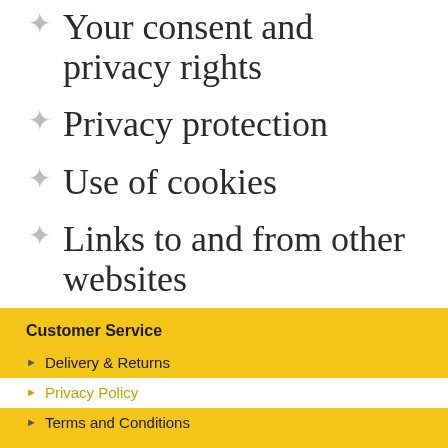Your consent and privacy rights
Privacy protection
Use of cookies
Links to and from other websites
Policy review
How to contact us
Customer Service
Delivery & Returns
Privacy Policy
Terms and Conditions